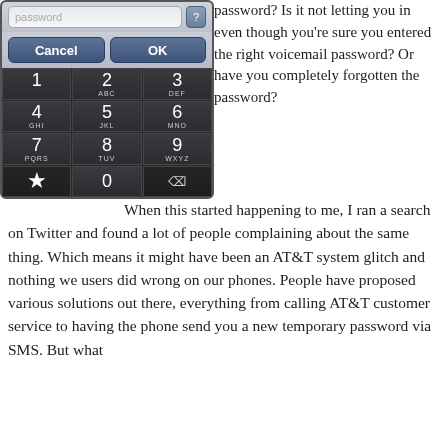[Figure (screenshot): iPhone numeric keypad with password input field at top showing 'password' placeholder, Cancel and OK buttons, and a full dial pad with digits 1-9, 0, star, and backspace keys on dark background.]
password? Is it not letting you in even though you're sure you entered the right voicemail password? Or have you completely forgotten the password?
When this started happening to me, I ran a search on Twitter and found a lot of people complaining about the same thing. Which means it might have been an AT&T system glitch and nothing we users did wrong on our phones. People have proposed various solutions out there, everything from calling AT&T customer service to having the phone send you a new temporary password via SMS. But what